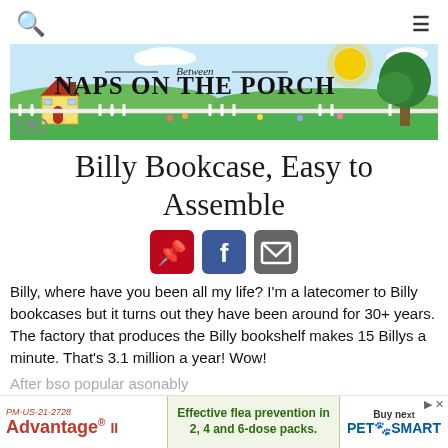Between Naps on the Porch (website header/navigation)
[Figure (illustration): Between Naps on the Porch website banner with illustrated house, sun, tree, fence, and flowers on a sunny day]
Billy Bookcase, Easy to Assemble
[Figure (infographic): Social share icons: Pinterest (red), Facebook (blue), Email (grey)]
Billy, where have you been all my life?  I'm a latecomer to Billy bookcases but it turns out they have been around for 30+ years.   The factory that produces the Billy bookshelf makes 15 Billys a minute.  That's 3.1 million a year!  Wow!
After b... so popular... asonably
[Figure (infographic): Advertisement banner: Advantage II flea prevention and PetSmart buy now ad]